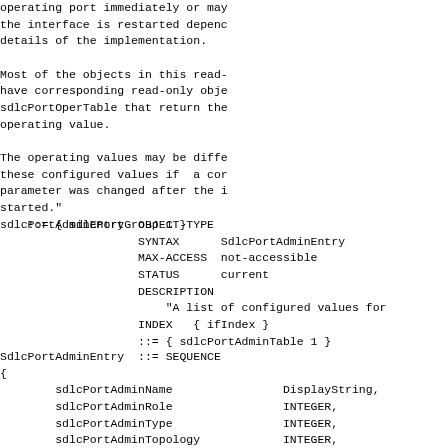operating port immediately or may
the interface is restarted depenc
details of the implementation.

Most of the objects in this read-
have corresponding read-only obje
sdlcPortOperTable that return the
operating value.

The operating values may be diffe
these configured values if  a cor
parameter was changed after the i
started."
    ::= { sdlcPortGroup 1 }
sdlcPortAdminEntry  OBJECT-TYPE
                    SYNTAX      SdlcPortAdminEntry
                    MAX-ACCESS  not-accessible
                    STATUS      current
                    DESCRIPTION
                        "A list of configured values for
                    INDEX   { ifIndex }
                    ::= { sdlcPortAdminTable 1 }
SdlcPortAdminEntry  ::= SEQUENCE
{
        sdlcPortAdminName                DisplayString,
        sdlcPortAdminRole                INTEGER,
        sdlcPortAdminType                INTEGER,
        sdlcPortAdminTopology            INTEGER,
        sdlcPortAdminISTATUS             INTEGER,